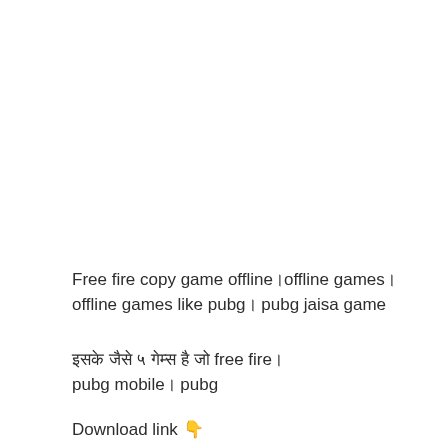Free fire copy game offline।offline games। offline games like pubg। pubg jaisa game
इसके जैसे ५ गेम्स है जो free fire। pubg mobile। pubg
Download link 👇
1: